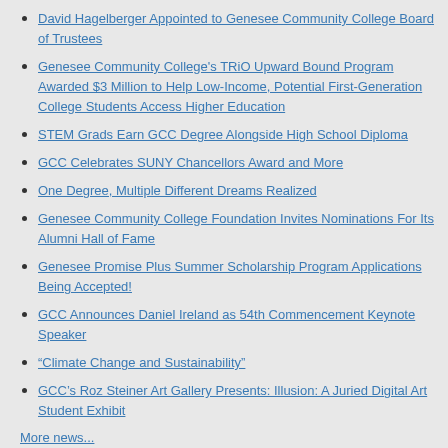David Hagelberger Appointed to Genesee Community College Board of Trustees
Genesee Community College's TRiO Upward Bound Program Awarded $3 Million to Help Low-Income, Potential First-Generation College Students Access Higher Education
STEM Grads Earn GCC Degree Alongside High School Diploma
GCC Celebrates SUNY Chancellors Award and More
One Degree, Multiple Different Dreams Realized
Genesee Community College Foundation Invites Nominations For Its Alumni Hall of Fame
Genesee Promise Plus Summer Scholarship Program Applications Being Accepted!
GCC Announces Daniel Ireland as 54th Commencement Keynote Speaker
“Climate Change and Sustainability”
GCC’s Roz Steiner Art Gallery Presents: Illusion: A Juried Digital Art Student Exhibit
More news...